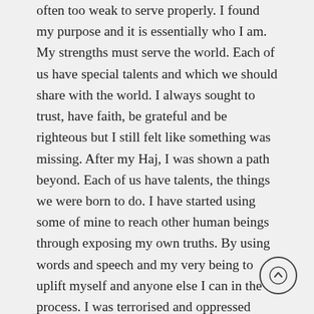often too weak to serve properly. I found my purpose and it is essentially who I am. My strengths must serve the world. Each of us have special talents and which we should share with the world. I always sought to trust, have faith, be grateful and be righteous but I still felt like something was missing. After my Haj, I was shown a path beyond. Each of us have talents, the things we were born to do. I have started using some of mine to reach other human beings through exposing my own truths. By using words and speech and my very being to uplift myself and anyone else I can in the process. I was terrorised and oppressed growing up. I seek to stop others from being terrorised, by encouraging myself and others to manifest who we truly are, pushing past our fears and insecurities and